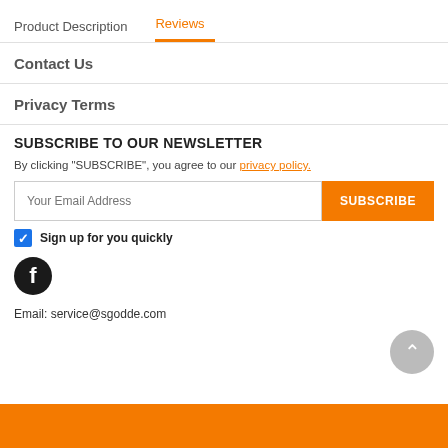Product Description   Reviews
Contact Us
Privacy Terms
SUBSCRIBE TO OUR NEWSLETTER
By clicking "SUBSCRIBE", you agree to our privacy policy.
Your Email Address  [SUBSCRIBE button]
Sign up for you quickly
[Figure (logo): Facebook logo icon - black circle with white F]
Email: service@sgodde.com